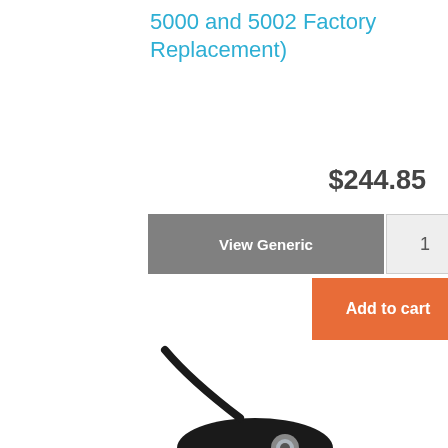5000 and 5002 Factory Replacement)
$244.85
View Generic
1
Add to cart
[Figure (photo): Black electric motor/pump assembly with wiring leads visible at bottom, shown at an angle on white background with watermark text overlay]